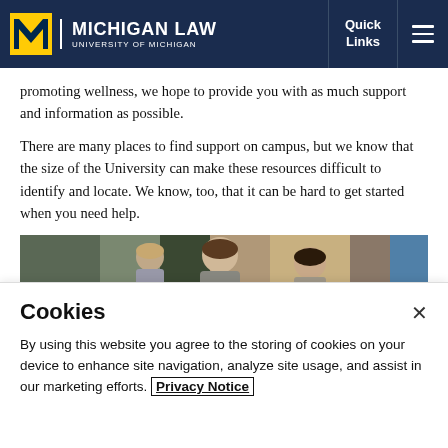[Figure (logo): Michigan Law University of Michigan logo with block M on dark navy navigation bar with Quick Links and hamburger menu]
promoting wellness, we hope to provide you with as much support and information as possible.
There are many places to find support on campus, but we know that the size of the University can make these resources difficult to identify and locate. We know, too, that it can be hard to get started when you need help.
[Figure (photo): Students gathered at an outdoor campus event, looking down at something on a table]
Cookies
By using this website you agree to the storing of cookies on your device to enhance site navigation, analyze site usage, and assist in our marketing efforts. Privacy Notice